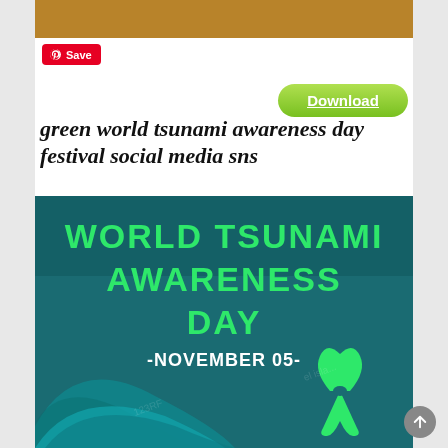[Figure (screenshot): Pinterest Save button (red badge with Pinterest logo and 'Save' text)]
[Figure (other): Green Download button (rounded pill button with white underlined 'Download' text on green gradient background)]
green world tsunami awareness day festival social media sns
[Figure (illustration): World Tsunami Awareness Day social media graphic with dark teal background. Large green text reads 'WORLD TSUNAMI AWARENESS DAY'. Below in white text: '-NOVEMBER 05-'. Bottom shows stylized teal wave shapes and a green awareness ribbon.]